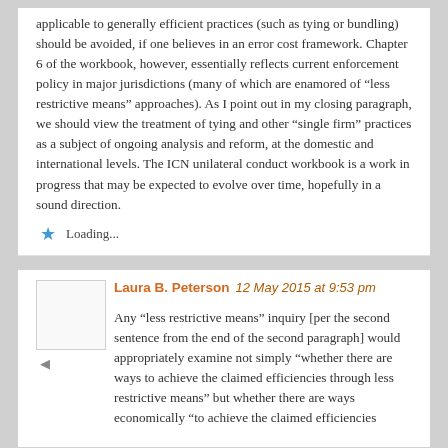applicable to generally efficient practices (such as tying or bundling) should be avoided, if one believes in an error cost framework. Chapter 6 of the workbook, however, essentially reflects current enforcement policy in major jurisdictions (many of which are enamored of “less restrictive means” approaches). As I point out in my closing paragraph, we should view the treatment of tying and other “single firm” practices as a subject of ongoing analysis and reform, at the domestic and international levels. The ICN unilateral conduct workbook is a work in progress that may be expected to evolve over time, hopefully in a sound direction.
Loading...
Laura B. Peterson  12 May 2015 at 9:53 pm
Any “less restrictive means” inquiry [per the second sentence from the end of the second paragraph] would appropriately examine not simply “whether there are ways to achieve the claimed efficiencies through less restrictive means” but whether there are ways economically “to achieve the claimed efficiencies